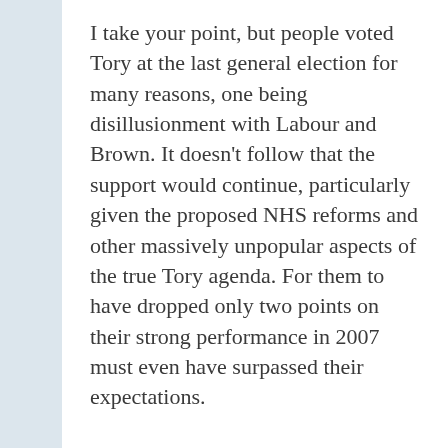I take your point, but people voted Tory at the last general election for many reasons, one being disillusionment with Labour and Brown. It doesn't follow that the support would continue, particularly given the proposed NHS reforms and other massively unpopular aspects of the true Tory agenda. For them to have dropped only two points on their strong performance in 2007 must even have surpassed their expectations.
But it seems events have